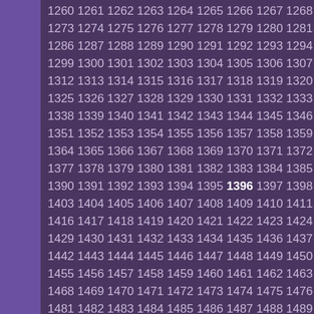Sequential number grid from 1260 to approximately 1505, with 1396 highlighted in bold white. Numbers arranged in rows of 13, displayed on a dark purple background with a lighter purple left sidebar.